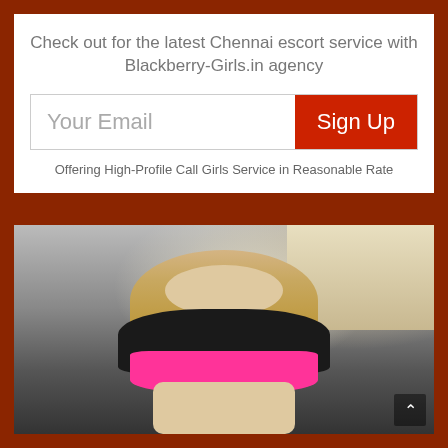Check out for the latest Chennai escort service with Blackberry-Girls.in agency
Your Email
Sign Up
Offering High-Profile Call Girls Service in Reasonable Rate
[Figure (photo): Woman with long blonde wavy hair sitting in a car, wearing a black top and pink skirt, smiling at camera]